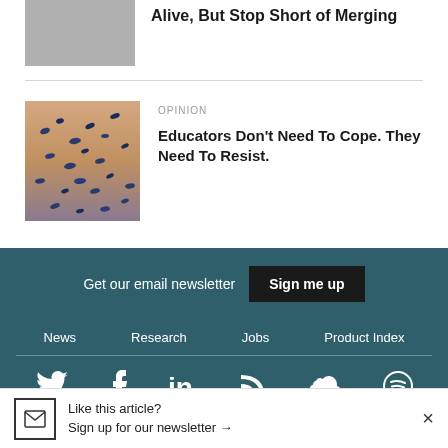[Figure (photo): Gray placeholder thumbnail image]
Alive, But Stop Short of Merging
[Figure (photo): Photo of a flock of birds (starlings or similar) in flight against a pink/orange sky]
OPINION
Educators Don't Need To Cope. They Need To Resist.
Get our email newsletter
Sign me up
News
Research
Jobs
Product Index
Like this article? Sign up for our newsletter →